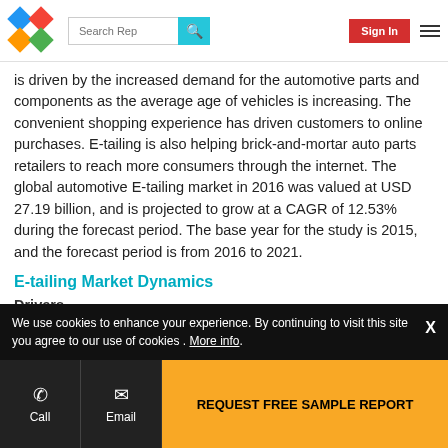Search Rep | Sign In
is driven by the increased demand for the automotive parts and components as the average age of vehicles is increasing. The convenient shopping experience has driven customers to online purchases. E-tailing is also helping brick-and-mortar auto parts retailers to reach more consumers through the internet. The global automotive E-tailing market in 2016 was valued at USD 27.19 billion, and is projected to grow at a CAGR of 12.53% during the forecast period. The base year for the study is 2015, and the forecast period is from 2016 to 2021.
E-tailing Market Dynamics
Drivers
[blurred/watermarked content]
We use cookies to enhance your experience. By continuing to visit this site you agree to our use of cookies . More info.
REQUEST FREE SAMPLE REPORT